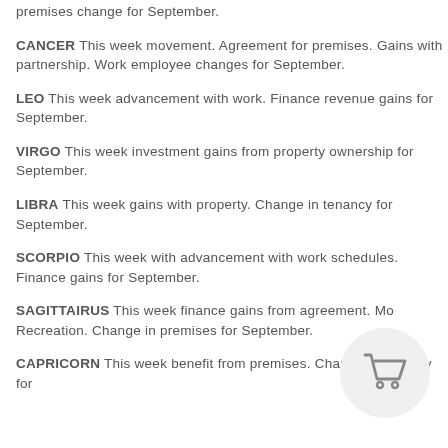premises change for September.
CANCER This week movement.  Agreement for premises.  Gains with partnership.  Work employee changes for September.
LEO This week advancement with work.  Finance revenue gains for September.
VIRGO This week investment gains from property ownership for September.
LIBRA This week gains with property.  Change in tenancy for September.
SCORPIO This week with advancement with work schedules.  Finance gains for September.
SAGITTAIRUS This week finance gains from agreement.  Mo... Recreation.  Change in premises for September.
[Figure (illustration): Shopping cart icon inside a light grey circle]
CAPRICORN This week benefit from premises.  Change in tenancy for